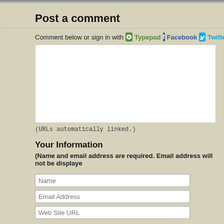Post a comment
Comment below or sign in with Typepad Facebook Twitter an
(URLs automatically linked.)
Your Information
(Name and email address are required. Email address will not be displaye